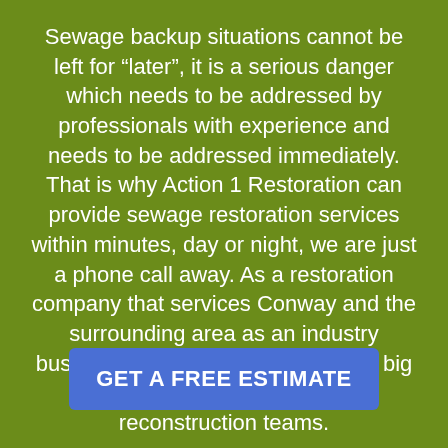Sewage backup situations cannot be left for “later”, it is a serious danger which needs to be addressed by professionals with experience and needs to be addressed immediately. That is why Action 1 Restoration can provide sewage restoration services within minutes, day or night, we are just a phone call away. As a restoration company that services Conway and the surrounding area as an industry business expert, there is no job too big or too small for our community reconstruction teams.
GET A FREE ESTIMATE